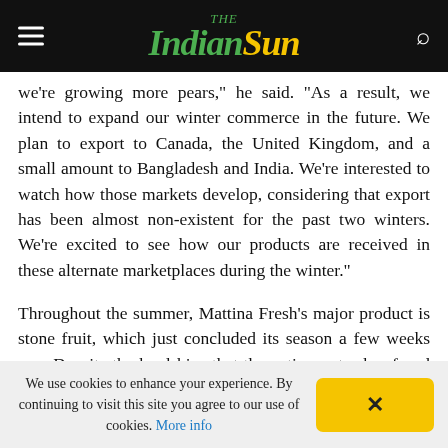The Indian Sun
we're growing more pears," he said. "As a result, we intend to expand our winter commerce in the future. We plan to export to Canada, the United Kingdom, and a small amount to Bangladesh and India. We're interested to watch how those markets develop, considering that export has been almost non-existent for the past two winters. We're excited to see how our products are received in these alternate marketplaces during the winter."
Throughout the summer, Mattina Fresh's major product is stone fruit, which just concluded its season a few weeks ago. Despite the hardships that the entire sector has faced in recent years, Mr Panna claims that as a firm, values have increased across all
We use cookies to enhance your experience. By continuing to visit this site you agree to our use of cookies. More info